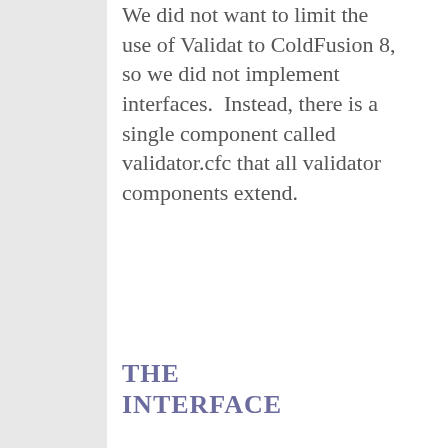We did not want to limit the use of Validat to ColdFusion 8, so we did not implement interfaces.  Instead, there is a single component called validator.cfc that all validator components extend.
THE INTERFACE